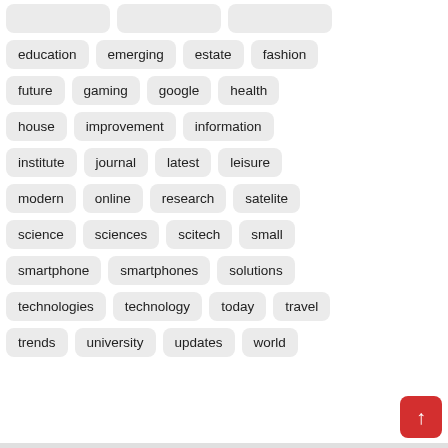education
emerging
estate
fashion
future
gaming
google
health
house
improvement
information
institute
journal
latest
leisure
modern
online
research
satelite
science
sciences
scitech
small
smartphone
smartphones
solutions
technologies
technology
today
travel
trends
university
updates
world